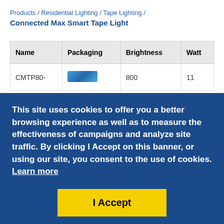Products / Residential Lighting / Tape Lighting / Connected Max Smart Tape Light
| Name | Packaging | Brightness | Watt |
| --- | --- | --- | --- |
| CMTP80- |  | 800 | 11 |
This site uses cookies to offer you a better browsing experience as well as to measure the effectiveness of campaigns and analyze site traffic. By clicking I Accept on this banner, or using our site, you consent to the use of cookies. Learn more
I Accept